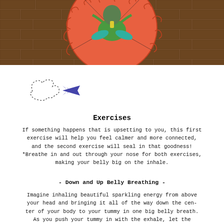[Figure (illustration): Colorful illustration of a figure sitting cross-legged on an orange circular mandala-like design against a brown brick wall background. The figure appears to be meditating, wearing green and teal clothing.]
[Figure (illustration): Small hand-drawn doodle showing a looping cloud/breath shape and a blue airplane or arrow shape, representing breathing exercises.]
Exercises
If something happens that is upsetting to you, this first exercise will help you feel calmer and more connected, and the second exercise will seal in that goodness! *Breathe in and out through your nose for both exercises, making your belly big on the inhale.
- Down and Up Belly Breathing -
Imagine inhaling beautiful sparkling energy from above your head and bringing it all of the way down the center of your body to your tummy in one big belly breath. As you push your tummy in with the exhale, let the breath flow down your legs, into your feet, and then into